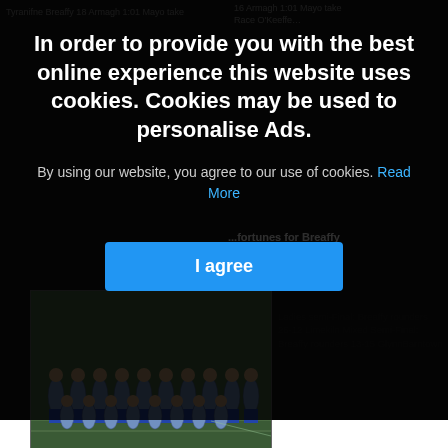In order to provide you with the best online experience this website uses cookies. Cookies may be used to personalise Ads.
By using our website, you agree to our use of cookies. Read More
I agree
[Figure (photo): Sports team photo of women's rounders team in blue and grey jerseys on a grass pitch]
Ladies semi-Final: Breaffy rounders 26-12 Limekiln Mixed Semi-Final: Breaffy rounders 13-15 GlynnBarntown
PREV 1 2 3 4 5 6 7 8 9 10 NEXT ...
Cookie GDPR